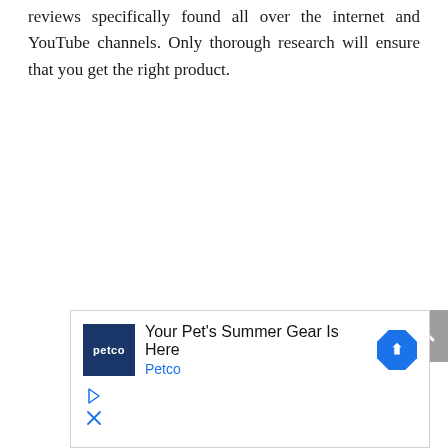reviews specifically found all over the internet and YouTube channels. Only thorough research will ensure that you get the right product.
[Figure (other): Gray 'back to top' button with upward chevron arrow icon, positioned at the right edge of the page.]
[Figure (other): Advertisement box for Petco: navy blue Petco logo on the left, headline 'Your Pet's Summer Gear Is Here' with blue Petco subtext, a blue diamond-shaped arrow icon on the right, and play/close icon controls at the bottom left.]